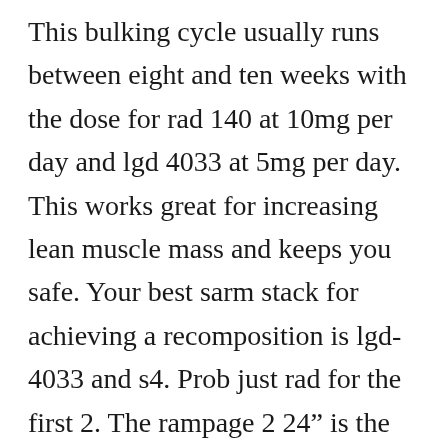This bulking cycle usually runs between eight and ten weeks with the dose for rad 140 at 10mg per day and lgd 4033 at 5mg per day. This works great for increasing lean muscle mass and keeps you safe. Your best sarm stack for achieving a recomposition is lgd-4033 and s4. Prob just rad for the first 2. The rampage 2 24” is the ultimate. I guarantee you that with a 12 week lgd 4033 cycle you will achieve great gains in. In this video i discuss how sarm’s caused me erectile issues in the past and how i fixed it. Sarms can suppress